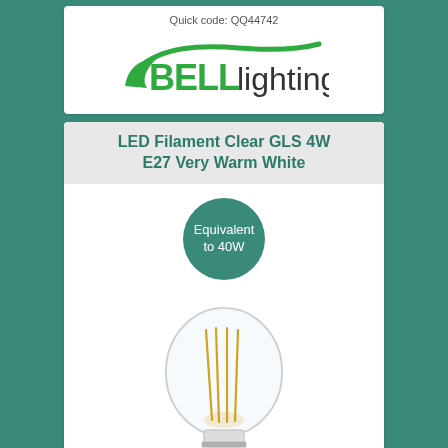Quick code: QQ44742
[Figure (logo): Bell Lighting logo — green swoosh with 'BELL' in bold green and 'lighting' in dark grey sans-serif]
LED Filament Clear GLS 4W E27 Very Warm White
[Figure (infographic): Teal circle badge reading 'Equivalent to 40W']
[Figure (photo): LED filament clear GLS light bulb with E27 base, showing warm golden filaments inside a clear glass globe]
£3.78
470 Lumens